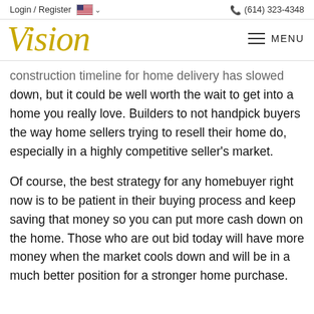Login / Register   (614) 323-4348
Vision
construction timeline for home delivery has slowed down, but it could be well worth the wait to get into a home you really love. Builders to not handpick buyers the way home sellers trying to resell their home do, especially in a highly competitive seller's market.
Of course, the best strategy for any homebuyer right now is to be patient in their buying process and keep saving that money so you can put more cash down on the home. Those who are out bid today will have more money when the market cools down and will be in a much better position for a stronger home purchase.